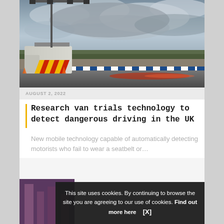[Figure (photo): A research van with yellow and red chevron markings on a test track, with camera equipment mounted on a tall gantry above. Stormy cloudy sky in background, trees on the horizon, blue and white barriers along the track. A car appears as a red motion-blur streak.]
AUGUST 2, 2022
Research van trials technology to detect dangerous driving in the UK
New mobile technology capable of automatically detecting motorists who fail to wear a seatbelt or...
[Figure (photo): Partial view of a second article image showing purple/pink industrial or urban structures.]
This site uses cookies. By continuing to browse the site you are agreeing to our use of cookies. Find out more here   [X]